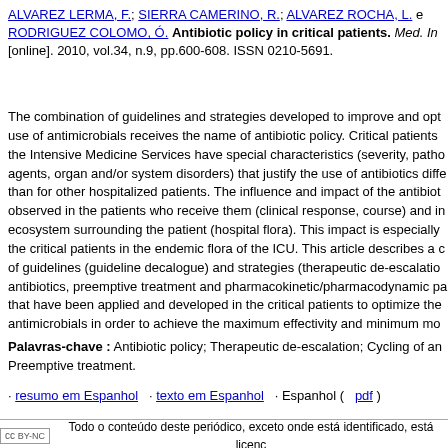ALVAREZ LERMA, F.; SIERRA CAMERINO, R.; ALVAREZ ROCHA, L. e RODRIGUEZ COLOMO, Ó. Antibiotic policy in critical patients. Med. In [online]. 2010, vol.34, n.9, pp.600-608. ISSN 0210-5691.
The combination of guidelines and strategies developed to improve and opt use of antimicrobials receives the name of antibiotic policy. Critical patients the Intensive Medicine Services have special characteristics (severity, patho agents, organ and/or system disorders) that justify the use of antibiotics diffe than for other hospitalized patients. The influence and impact of the antibiot observed in the patients who receive them (clinical response, course) and in ecosystem surrounding the patient (hospital flora). This impact is especially the critical patients in the endemic flora of the ICU. This article describes a c of guidelines (guideline decalogue) and strategies (therapeutic de-escalatio antibiotics, preemptive treatment and pharmacokinetic/pharmacodynamic pa that have been applied and developed in the critical patients to optimize the antimicrobials in order to achieve the maximum effectivity and minimum mo
Palavras-chave : Antibiotic policy; Therapeutic de-escalation; Cycling of an Preemptive treatment.
· resumo em Espanhol · texto em Espanhol · Espanhol ( pdf )
Todo o conteúdo deste periódico, exceto onde está identificado, está licenc Licença Creative Commons
C/ Travesera de Gracia, 17-21, 08021 Barcelona, Telf.: 932 000 71 suscripciones@elsevier.com